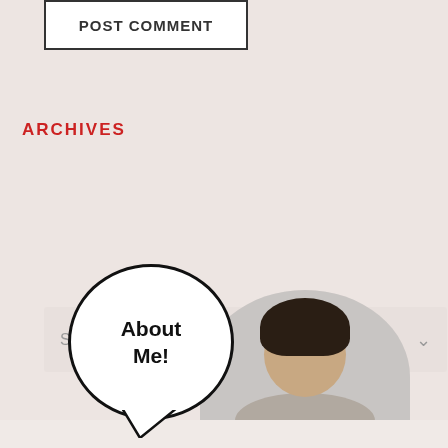[Figure (screenshot): POST COMMENT button - white rectangular button with dark border and bold uppercase text]
ARCHIVES
[Figure (screenshot): Select Month dropdown selector with chevron arrow on right]
[Figure (illustration): About Me section with circular speech bubble saying 'About Me!' and a circular photo of a smiling Asian woman in front of bookshelves]